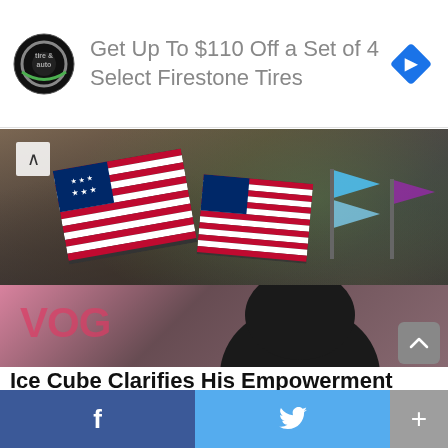[Figure (screenshot): Advertisement banner: Tire & Auto logo circle, text 'Get Up To $110 Off a Set of 4 Select Firestone Tires', blue diamond navigation icon on right]
[Figure (photo): Large crowd scene with people waving American flags and other flags, umbrellas visible, dense protest or rally crowd]
CELEBRITY
Ice Cube Clarifies His Empowerment Plans Following Criticisms for Working with Trump
[Figure (photo): Partial image showing dark hair of a person against a pink/red background with partial text visible]